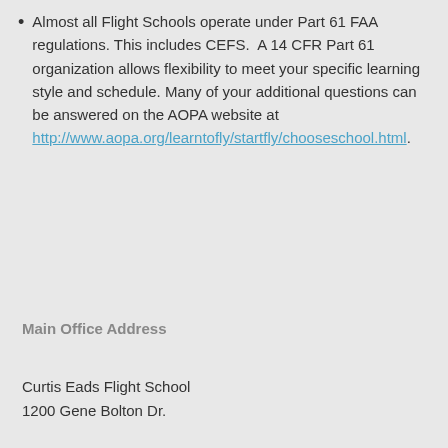Almost all Flight Schools operate under Part 61 FAA regulations. This includes CEFS. A 14 CFR Part 61 organization allows flexibility to meet your specific learning style and schedule. Many of your additional questions can be answered on the AOPA website at http://www.aopa.org/learntofly/startfly/chooseschool.html.
Main Office Address
Curtis Eads Flight School
1200 Gene Bolton Dr.